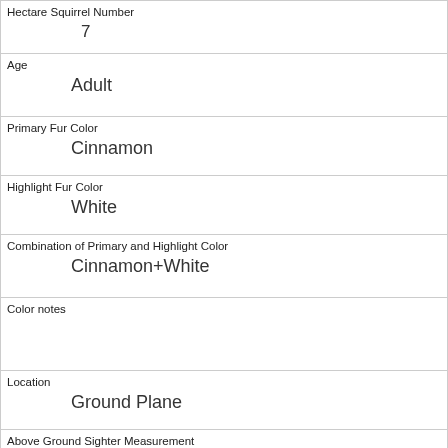| Hectare Squirrel Number | 7 |
| Age | Adult |
| Primary Fur Color | Cinnamon |
| Highlight Fur Color | White |
| Combination of Primary and Highlight Color | Cinnamon+White |
| Color notes |  |
| Location | Ground Plane |
| Above Ground Sighter Measurement | FALSE |
| Specific Location | elevated ground |
| Running | 0 |
| Chasing |  |